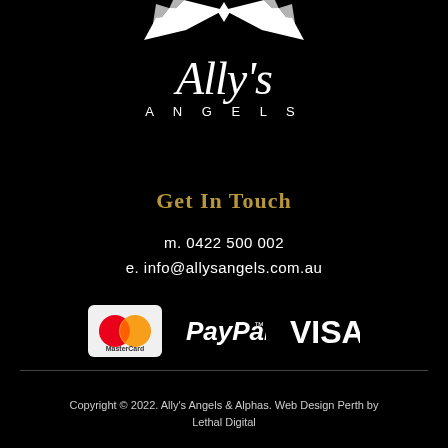[Figure (logo): Ally's Angels logo: wing symbol above cursive 'Ally's' script with 'ANGELS' spelled out below in spaced capitals]
Get In Touch
m. 0422 500 002
e. info@allysangels.com.au
[Figure (logo): Payment logos: MasterCard, PayPal, Visa]
Copyright © 2022. Ally's Angels & Alphas. Web Design Perth by Lethal Digital